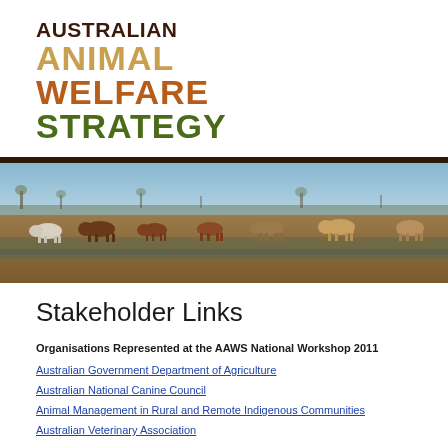[Figure (logo): Australian Animal Welfare Strategy logo with stacked text: AUSTRALIAN in dark brown, ANIMAL in tan/gold, WELFARE in orange-brown, STRATEGY in dark green]
[Figure (photo): Wide panoramic photo of cattle/livestock walking across muddy flooded flat land with sparse trees visible in background against blue sky]
Stakeholder Links
Organisations Represented at the AAWS National Workshop 2011
Australian Government Department of Agriculture
Australian National Canine Council
Animal Management in Rural and Remote Indigenous Communities
Australian Veterinary Association